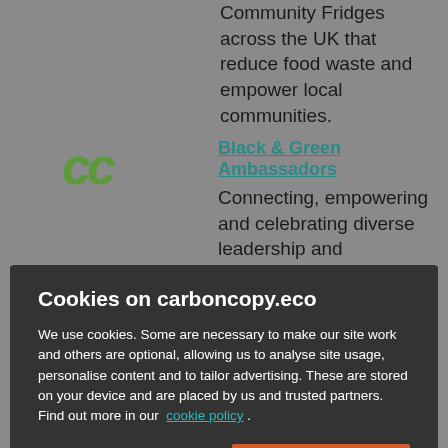Community Fridges across the UK that reduce food waste and empower local communities.
[Figure (logo): Green CC logo icon for Black & Green Ambassadors]
Black & Green Ambassadors
Connecting, empowering and celebrating diverse leadership and community action on environmental issues in Bristol and beyond; working
Cookies on carboncopy.eco
We use cookies. Some are necessary to make our site work and others are optional, allowing us to analyse site usage, personalise content and to tailor advertising. These are stored on your device and are placed by us and trusted partners. Find out more in our cookie policy .
Manage Cookies
Accept All Cookies